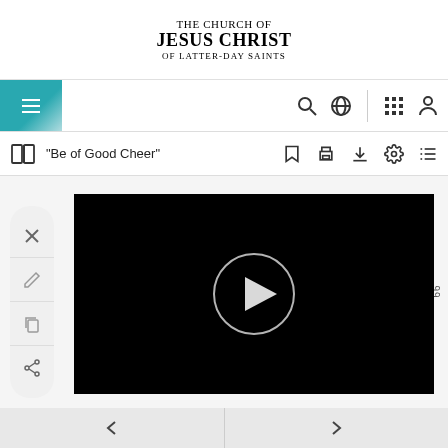THE CHURCH OF JESUS CHRIST OF LATTER-DAY SAINTS
[Figure (screenshot): Navigation bar with hamburger menu icon on teal background, and icons for search, globe, grid, and user account]
[Figure (screenshot): Toolbar showing book icon, title 'Be of Good Cheer', and icons for bookmark, print, download, settings, and list]
[Figure (screenshot): Video player showing black screen with circular play button in center, with sidebar tools (close, pen, copy, share) and page number 99]
[Figure (screenshot): Bottom navigation bar with back arrow on left and forward arrow on right]